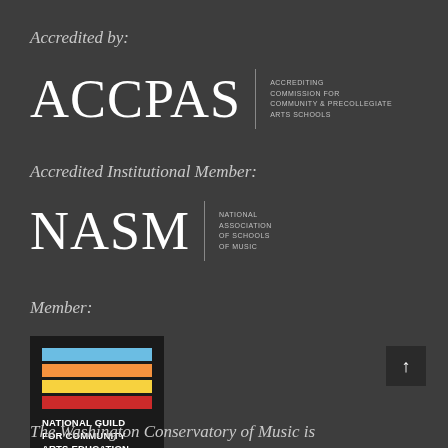Accredited by:
[Figure (logo): ACCPAS logo with text: Accrediting Commission for Community & Precollegiate Arts Schools]
Accredited Institutional Member:
[Figure (logo): NASM logo with text: National Association of Schools of Music]
Member:
[Figure (logo): National Guild for Community Arts Education logo with colored bars (blue, orange, yellow, red)]
The Washington Conservatory of Music is